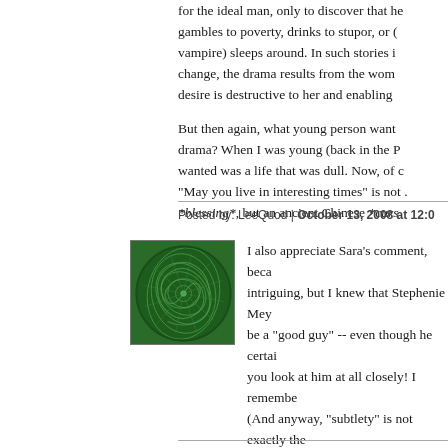for the ideal man, only to discover that he gambles to poverty, drinks to stupor, or (if vampire) sleeps around. In such stories i change, the drama results from the wom desire is destructive to her and enabling
But then again, what young person want drama? When I was young (back in the P wanted was a life that was dull. Now, of c "May you live in interesting times" is not *blessing*, but an ancient Chinese *curs
Posted by: LeeQuod | October 13, 2008 at 12:0
[Figure (illustration): Green swirling fractal/spiral pattern avatar image in a square with border]
I also appreciate Sara's comment, beca intriguing, but I knew that Stephenie Mey be a "good guy" -- even though he certai you look at him at all closely! I remembe (And anyway, "subtlety" is not exactly the get my drift.) I just couldn't remember wh appreciate the link and the quote.
It does disturb me that so many women a vision of this man as "perfect" or even "g verse go? -- I never seem to have time to days, but it's something like "Woe to thos good evil," isn't it?